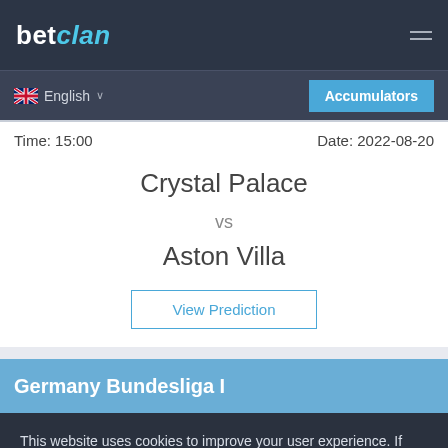betclan
English
Accumulators
Time: 15:00
Date: 2022-08-20
Crystal Palace vs Aston Villa
View Prediction
Germany Bundesliga I
This website uses cookies to improve your user experience. If you continue on this website, you will be providing your consent to our use of cookies.
Info
Accept